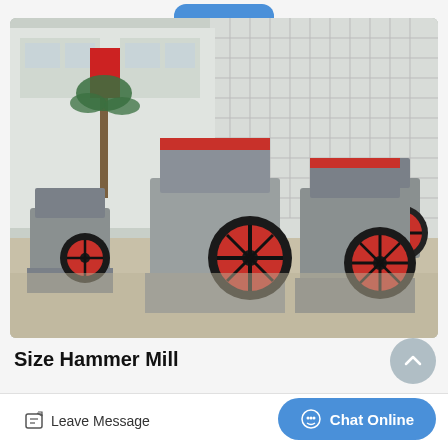[Figure (photo): Multiple hammer mill crushing machines with red flywheels parked outside a factory building. The machines are grey with red accents and are arranged in a row on a concrete surface. A palm tree and a factory building are visible in the background.]
Size Hammer Mill
Leave Message
Chat Online